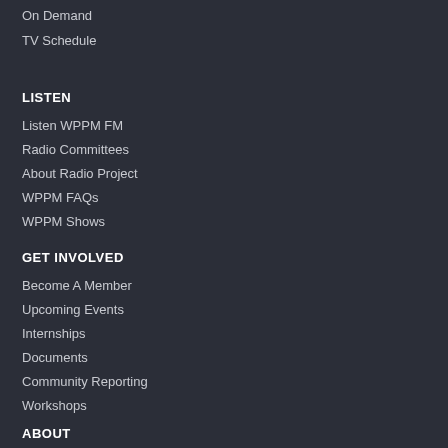On Demand
TV Schedule
LISTEN
Listen WPPM FM
Radio Committees
About Radio Project
WPPM FAQs
WPPM Shows
GET INVOLVED
Become A Member
Upcoming Events
Internships
Documents
Community Reporting
Workshops
ABOUT